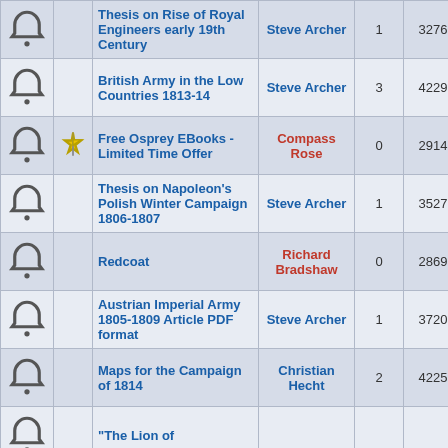|  |  | Topic | Author | Replies | Views | Last Post |
| --- | --- | --- | --- | --- | --- | --- |
| (bell) |  | Thesis on Rise of Royal Engineers early 19th Century | Steve Archer | 1 | 3276 | Sat Mar 28, 2020 1 / Christian Hecht |
| (bell) |  | British Army in the Low Countries 1813-14 | Steve Archer | 3 | 4229 | Sat Mar 28, 2020 9 / Steve Archer |
| (bell) | (warn) | Free Osprey EBooks - Limited Time Offer | Compass Rose | 0 | 2914 | Fri Mar 27, 2020 10 / Compass Rose |
| (bell) |  | Thesis on Napoleon's Polish Winter Campaign 1806-1807 | Steve Archer | 1 | 3527 | Wed Feb 19, 2020 1 / Christian Hecht |
| (bell) |  | Redcoat | Richard Bradshaw | 0 | 2869 | Wed Feb 12, 2020 2 / Richard Bradshaw |
| (bell) |  | Austrian Imperial Army 1805-1809 Article PDF format | Steve Archer | 1 | 3720 | Sun Jan 05, 2020 8 / Christian Hecht |
| (bell) |  | Maps for the Campaign of 1814 | Christian Hecht | 2 | 4225 | Sun Jan 05, 2020 8 / Christian Hecht |
| (bell) |  | "The Lion of |  |  |  |  |